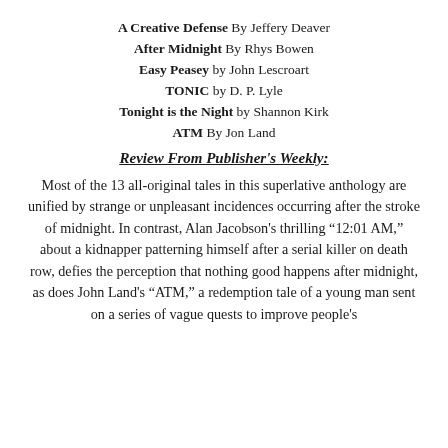A Creative Defense By Jeffery Deaver
After Midnight By Rhys Bowen
Easy Peasey by John Lescroart
TONIC by D. P. Lyle
Tonight is the Night by Shannon Kirk
ATM By Jon Land
Review From Publisher's Weekly:
Most of the 13 all-original tales in this superlative anthology are unified by strange or unpleasant incidences occurring after the stroke of midnight. In contrast, Alan Jacobson’s thrilling “12:01 AM,” about a kidnapper patterning himself after a serial killer on death row, defies the perception that nothing good happens after midnight, as does John Land’s “ATM,” a redemption tale of a young man sent on a series of vague quests to improve people’s